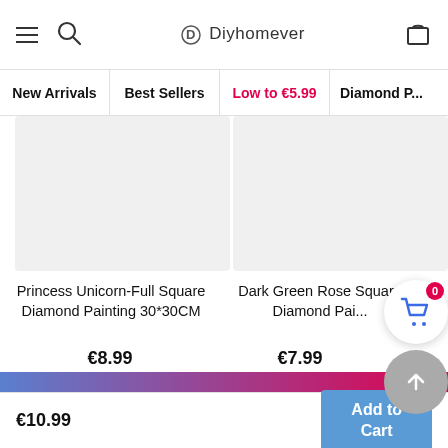Diyhomever navigation bar with menu, search, and cart icons
New Arrivals
Best Sellers
Low to €5.99
Diamond P...
[Figure (photo): Product image placeholder for Princess Unicorn-Full Square Diamond Painting 30*30CM]
[Figure (photo): Product image placeholder for Dark Green Rose Square Diamond Painting]
Princess Unicorn-Full Square Diamond Painting 30*30CM
Dark Green Rose Square Diamond Pai...
€8.99
€7.99
Sitewide Buy 4 Get 1 Free ( Add 5 To Cart )
€10.99
Add to Cart